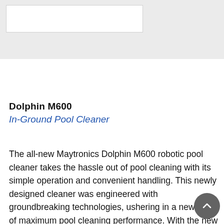[Figure (other): Gray header banner with white search/input box in top left]
Dolphin M600
In-Ground Pool Cleaner
The all-new Maytronics Dolphin M600 robotic pool cleaner takes the hassle out of pool cleaning with its simple operation and convenient handling. This newly designed cleaner was engineered with groundbreaking technologies, ushering in a new era of maximum pool cleaning performance. With the new My Dolphin Plus app, the M600 is always connected giving you the power to...